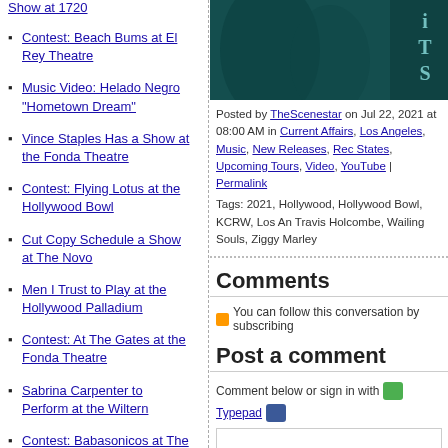Show at 1720
Contest: Beach Bums at El Rey Theatre
Music Video: Helado Negro "Hometown Dream"
Vince Staples Has a Show at the Fonda Theatre
Contest: Flying Lotus at the Hollywood Bowl
Cut Copy Schedule a Show at The Novo
Men I Trust to Play at the Hollywood Palladium
Contest: At The Gates at the Fonda Theatre
Sabrina Carpenter to Perform at the Wiltern
Contest: Babasonicos at The Ford
Shows of the Night: Monday, August
[Figure (photo): Dark teal/green toned image with letters I, T, S visible on right side]
Posted by TheScenestar on Jul 22, 2021 at 08:00 AM in Current Affairs, Los Angeles, Music, New Releases, Rec States, Upcoming Tours, Video, YouTube | Permalink
Tags: 2021, Hollywood, Hollywood Bowl, KCRW, Los An Travis Holcombe, Wailing Souls, Ziggy Marley
Comments
You can follow this conversation by subscribing
Post a comment
Comment below or sign in with Typepad